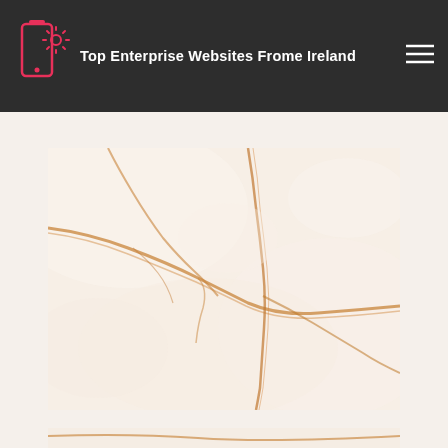Top Enterprise Websites Frome Ireland
[Figure (photo): Close-up photograph of white and cream marble surface with orange/golden veining patterns running diagonally across it]
[Figure (photo): Partial view of another similar marble surface with orange/golden veining, partially visible at the bottom of the page]